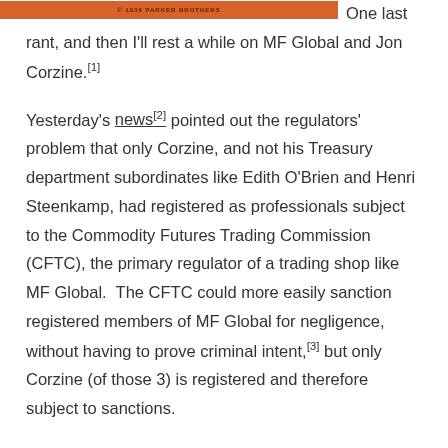[Figure (illustration): Orange/red decorative banner image with text '© 1936 PARKER BROTHERS' centered, followed by 'One last' text to the right]
One last rant, and then I'll rest a while on MF Global and Jon Corzine.[1]
Yesterday's news[2] pointed out the regulators' problem that only Corzine, and not his Treasury department subordinates like Edith O'Brien and Henri Steenkamp, had registered as professionals subject to the Commodity Futures Trading Commission (CFTC), the primary regulator of a trading shop like MF Global.  The CFTC could more easily sanction registered members of MF Global for negligence, without having to prove criminal intent,[3] but only Corzine (of those 3) is registered and therefore subject to sanctions.